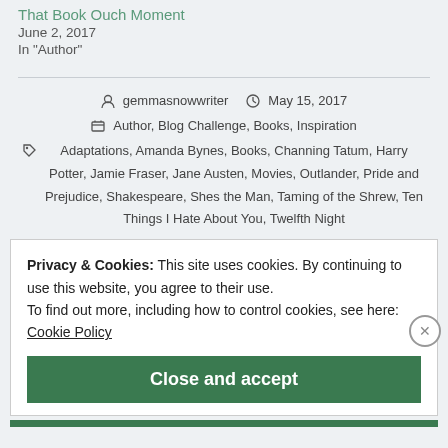That Book Ouch Moment
June 2, 2017
In "Author"
gemmasnowwriter   May 15, 2017   Author, Blog Challenge, Books, Inspiration
Adaptations, Amanda Bynes, Books, Channing Tatum, Harry Potter, Jamie Fraser, Jane Austen, Movies, Outlander, Pride and Prejudice, Shakespeare, Shes the Man, Taming of the Shrew, Ten Things I Hate About You, Twelfth Night
Privacy & Cookies: This site uses cookies. By continuing to use this website, you agree to their use.
To find out more, including how to control cookies, see here:
Cookie Policy
Close and accept